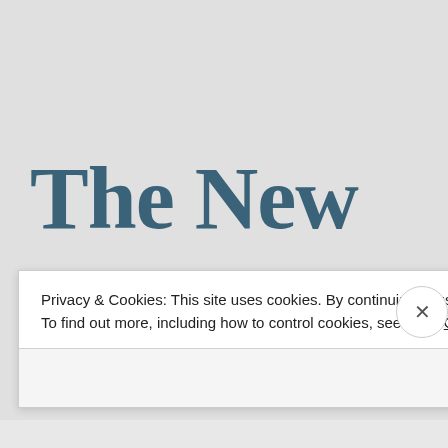The New
Privacy & Cookies: This site uses cookies. By continuing to use this website, you agree to their use.
To find out more, including how to control cookies, see here: Cookie Policy
Close and accept